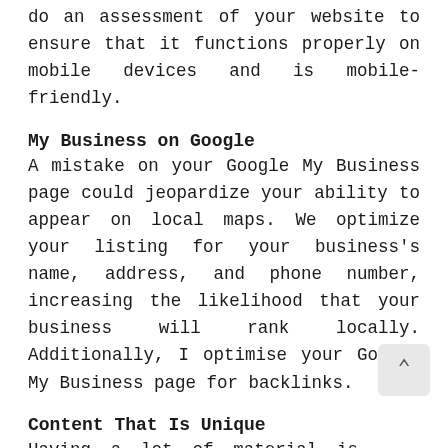do an assessment of your website to ensure that it functions properly on mobile devices and is mobile-friendly.
My Business on Google
A mistake on your Google My Business page could jeopardize your ability to appear on local maps. We optimize your listing for your business's name, address, and phone number, increasing the likelihood that your business will rank locally. Additionally, I optimise your Google My Business page for backlinks.
Content That Is Unique
Having a lot of material is insufficient to achieve a high ranking on search engines. The material must